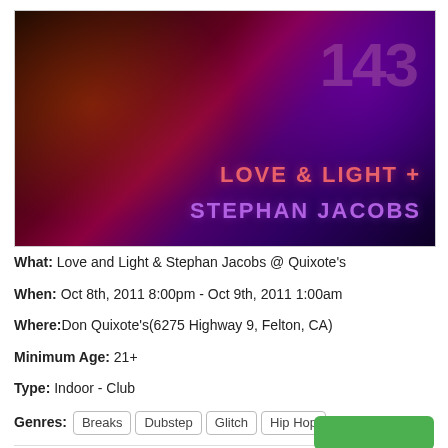[Figure (illustration): Dark electronic music event flyer with colorful abstract background showing number 143, text 'LOVE & LIGHT +' in red/pink and 'STEPHAN JACOBS' in purple]
What: Love and Light & Stephan Jacobs @ Quixote's
When: Oct 8th, 2011 8:00pm - Oct 9th, 2011 1:00am
Where: Don Quixote's(6275 Highway 9, Felton, CA)
Minimum Age: 21+
Type: Indoor - Club
Genres: Breaks  Dubstep  Glitch  Hip Hop
Tickets